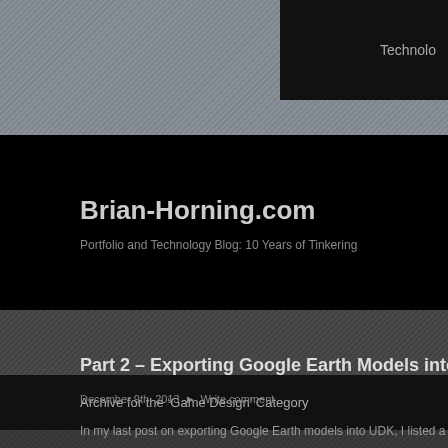Technolo
Brian-Horning.com
Portfolio and Technology Blog: 10 Years of Tinkering
Archive for the ‘Game Design’ Category
Part 2 – Exporting Google Earth Models into UDK using 3
December 9th, 2013  ►  Write comment
In my last post on exporting Google Earth models into UDK, I listed a